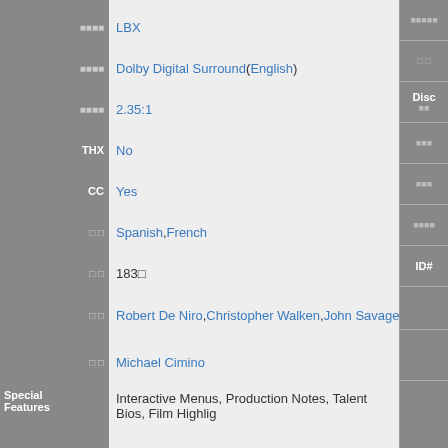| (cjk) | LBX | (cjk) |
| (cjk) | Dolby Digital Surround ( English ) |  |
| (cjk) | 2.35:1 | Disc(cjk) |
| THX | No | (cjk) |
| CC | Yes | (cjk) |
| (cjk) | Spanish, French | (cjk) |
| (cjk) | 183(cjk) | ID# |
| (cjk) | Robert De Niro, Christopher Walken, John Savage, Meryl Str... |  |
| (cjk) | Michael Cimino |  |
| Special Features | Interactive Menus, Production Notes, Talent Bios, Film Highlig... |  |
| (cjk) / (cjk) | Deer Hunter (cjk) |  |